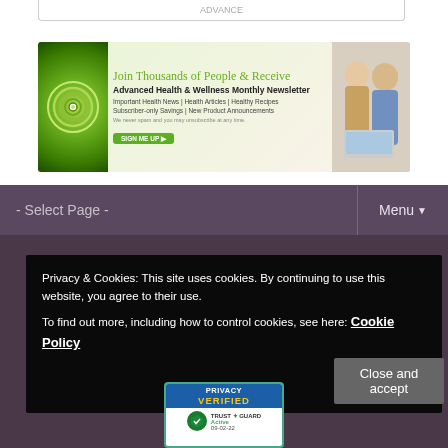[Figure (infographic): Newsletter signup banner: Join Thousands of People & Receive Advanced Health & Wellness Monthly Newsletter. Features green spiral shell logo on left and smiling couple on right.]
- Select Page -
Menu
Privacy & Cookies: This site uses cookies. By continuing to use this website, you agree to their use. To find out more, including how to control cookies, see here: Cookie Policy
Close and accept
[Figure (logo): Privacy Verified Trust Guard Active badge, dated 09-02-22]